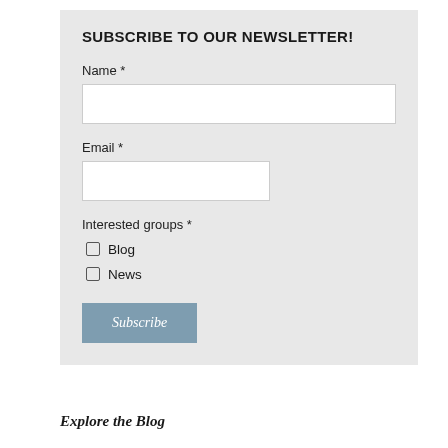SUBSCRIBE TO OUR NEWSLETTER!
Name *
Email *
Interested groups *
Blog
News
Subscribe
Explore the Blog